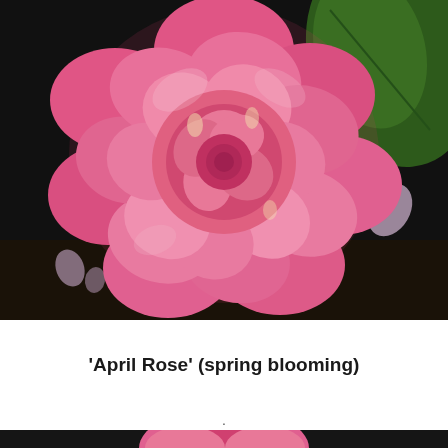[Figure (photo): Close-up photograph of a pink camellia flower ('April Rose') in full bloom, with layered petals forming a rose-like shape, set against a dark background with green leaves visible.]
'April Rose' (spring blooming)
.
[Figure (photo): Partial view of another flower photograph, showing a pink bloom against a dark background, cropped at the bottom edge of the page.]